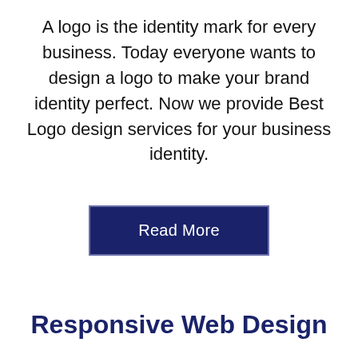A logo is the identity mark for every business. Today everyone wants to design a logo to make your brand identity perfect. Now we provide Best Logo design services for your business identity.
[Figure (other): A dark navy blue button labeled 'Read More' with a lighter border outline]
Responsive Web Design
As a leading responsive website design Agency, we build Responsive websites